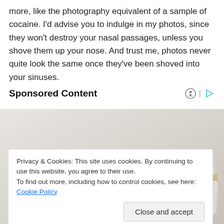more, like the photography equivalent of a sample of cocaine. I'd advise you to indulge in my photos, since they won't destroy your nasal passages, unless you shove them up your nose. And trust me, photos never quite look the same once they've been shoved into your sinuses.
Sponsored Content
[Figure (photo): Advertisement showing a modern sofa/couch with recliner furniture in a light gray/beige color against a gradient background]
Privacy & Cookies: This site uses cookies. By continuing to use this website, you agree to their use.
To find out more, including how to control cookies, see here: Cookie Policy